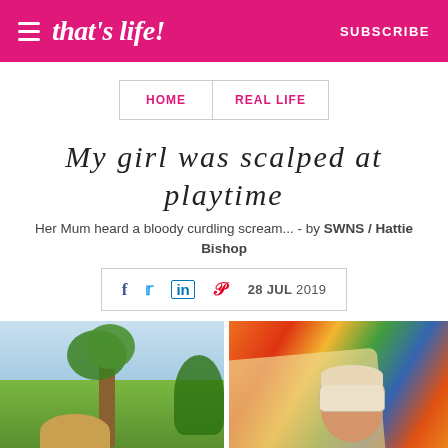that's life! | SUBSCRIBE
HOME / REAL LIFE
My girl was scalped at playtime
Her Mum heard a bloody curdling scream... - by SWNS / Hattie Bishop
28 JUL 2019
[Figure (photo): Two-panel photo: left shows a young girl with blonde hair standing near a tree in a garden; right shows the same or similar child with a bandaged head resting on a colorful pillow.]